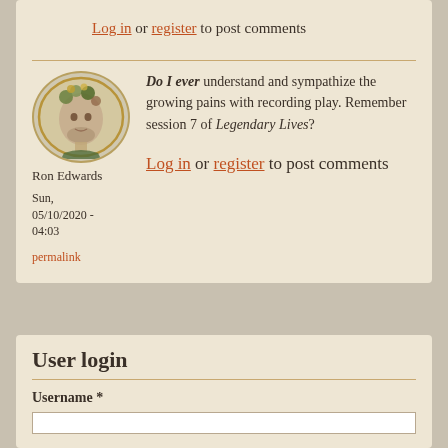Log in or register to post comments
[Figure (illustration): Profile avatar of Ron Edwards - illustrated head with decorative elements, oval framed]
Ron Edwards
Sun, 05/10/2020 - 04:03
permalink
Do I ever understand and sympathize the growing pains with recording play. Remember session 7 of Legendary Lives?
Log in or register to post comments
User login
Username *